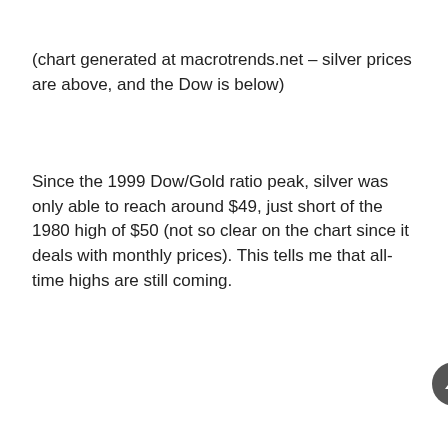(chart generated at macrotrends.net – silver prices are above, and the Dow is below)
Since the 1999 Dow/Gold ratio peak, silver was only able to reach around $49, just short of the 1980 high of $50 (not so clear on the chart since it deals with monthly prices). This tells me that all-time highs are still coming.
[Figure (other): Advertisement banner for 'The Juice Newsletter' with a green gradient background and a close button]